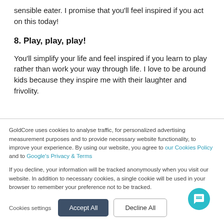sensible eater. I promise that you'll feel inspired if you act on this today!
8. Play, play, play!
You'll simplify your life and feel inspired if you learn to play rather than work your way through life. I love to be around kids because they inspire me with their laughter and frivolity.
GoldCore uses cookies to analyse traffic, for personalized advertising measurement purposes and to provide necessary website functionality, to improve your experience. By using our website, you agree to our Cookies Policy and to Google's Privacy & Terms
If you decline, your information will be tracked anonymously when you visit our website. In addition to necessary cookies, a single cookie will be used in your browser to remember your preference not to be tracked.